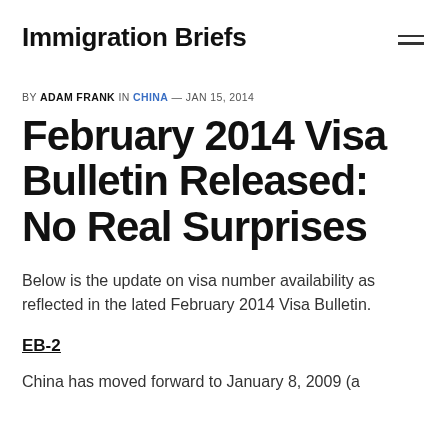Immigration Briefs
BY ADAM FRANK IN CHINA — JAN 15, 2014
February 2014 Visa Bulletin Released: No Real Surprises
Below is the update on visa number availability as reflected in the lated February 2014 Visa Bulletin.
EB-2
China has moved forward to January 8, 2009 (a